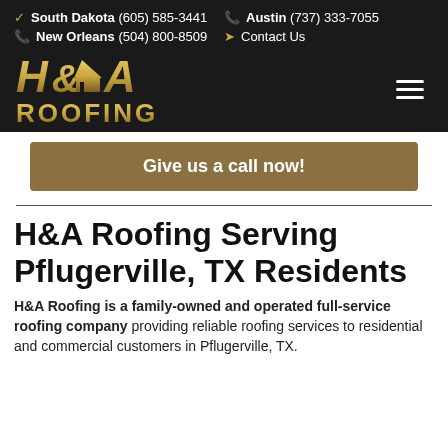South Dakota (605) 585-3441  Austin (737) 333-7055  New Orleans (504) 800-8509  Contact Us
[Figure (logo): H&A Roofing logo in gold/bronze gradient lettering on dark background]
Give us a call now!
H&A Roofing Serving Pflugerville, TX Residents
H&A Roofing is a family-owned and operated full-service roofing company providing reliable roofing services to residential and commercial customers in Pflugerville, TX.